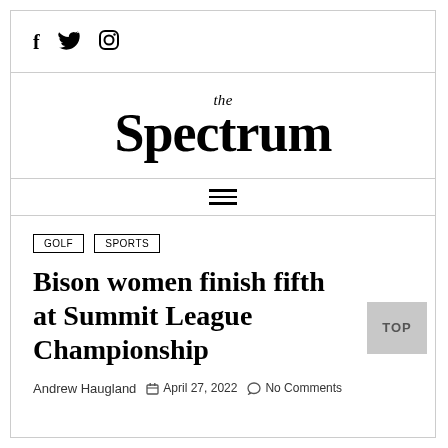[Figure (logo): Social media icons: Facebook (f), Twitter (bird), Instagram (camera)]
the Spectrum
[Figure (other): Hamburger menu icon (three horizontal lines)]
GOLF   SPORTS
Bison women finish fifth at Summit League Championship
Andrew Haugland   April 27, 2022   No Comments